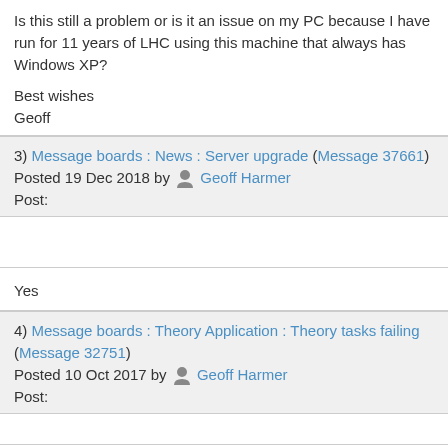Is this still a problem or is it an issue on my PC because I have run for 11 years of LHC using this machine that always has Windows XP?

Best wishes
Geoff
3) Message boards : News : Server upgrade (Message 37661)
Posted 19 Dec 2018 by Geoff Harmer
Post:
Yes
4) Message boards : Theory Application : Theory tasks failing (Message 32751)
Posted 10 Oct 2017 by Geoff Harmer
Post:
Exactly the same for me on my Win Vista 32 bit for the 9 and 10 Oct.